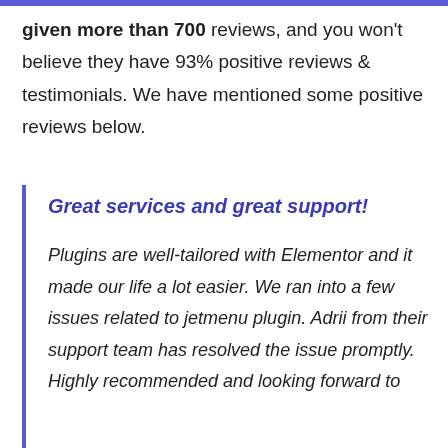given more than 700 reviews, and you won't believe they have 93% positive reviews & testimonials. We have mentioned some positive reviews below.
Great services and great support!
Plugins are well-tailored with Elementor and it made our life a lot easier. We ran into a few issues related to jetmenu plugin. Adrii from their support team has resolved the issue promptly. Highly recommended and looking forward to